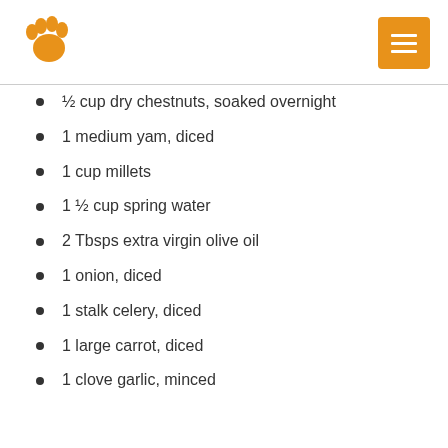[Figure (logo): Orange paw print icon on the left and an orange square menu button icon on the right]
½ cup dry chestnuts, soaked overnight
1 medium yam, diced
1 cup millets
1 ½ cup spring water
2 Tbsps extra virgin olive oil
1 onion, diced
1 stalk celery, diced
1 large carrot, diced
1 clove garlic, minced